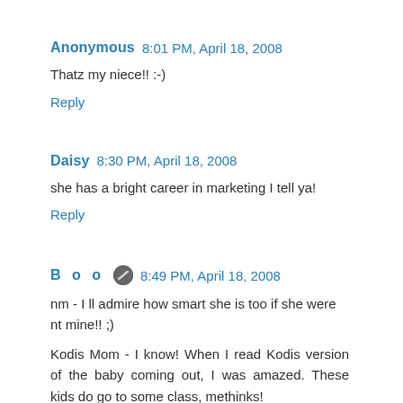Anonymous 8:01 PM, April 18, 2008
Thatz my niece!! :-)
Reply
Daisy 8:30 PM, April 18, 2008
she has a bright career in marketing I tell ya!
Reply
B o o [icon] 8:49 PM, April 18, 2008
nm - I ll admire how smart she is too if she were nt mine!! ;)
Kodis Mom - I know! When I read Kodis version of the baby coming out, I was amazed. These kids do go to some class, methinks!
Maggie (Checking the profile to see if its indeed you